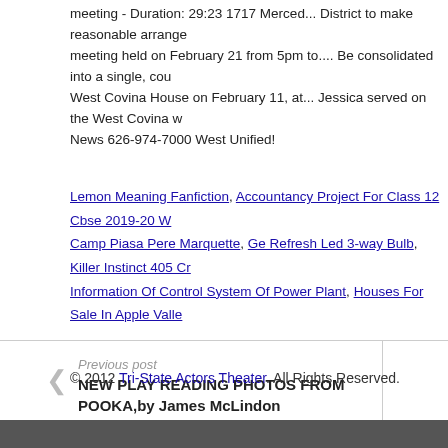meeting - Duration: 29:23 1717 Merced... District to make reasonable arrangements meeting held on February 21 from 5pm to.... Be consolidated into a single, cou... West Covina House on February 11, at... Jessica served on the West Covina w... News 626-974-7000 West Unified!
Lemon Meaning Fanfiction, Accountancy Project For Class 12 Cbse 2019-20 W... Camp Piasa Pere Marquette, Ge Refresh Led 3-way Bulb, Killer Instinct 405 Cr... Information Of Control System Of Power Plant, Houses For Sale In Apple Valle...
Previous post
NEW PLAY READING PHOTOS FROM POOKA,by James McLindon
© 2012 Tri-State Actors Theater. All Rights Reserved.